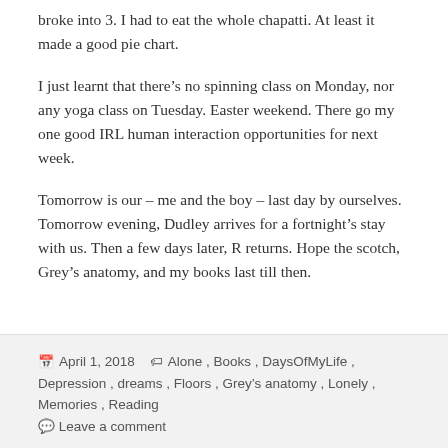broke into 3. I had to eat the whole chapatti. At least it made a good pie chart.
I just learnt that there's no spinning class on Monday, nor any yoga class on Tuesday. Easter weekend. There go my one good IRL human interaction opportunities for next week.
Tomorrow is our – me and the boy – last day by ourselves. Tomorrow evening, Dudley arrives for a fortnight's stay with us. Then a few days later, R returns. Hope the scotch, Grey's anatomy, and my books last till then.
April 1, 2018   Alone, Books, DaysOfMyLife, Depression, dreams, Floors, Grey's anatomy, Lonely, Memories, Reading   Leave a comment